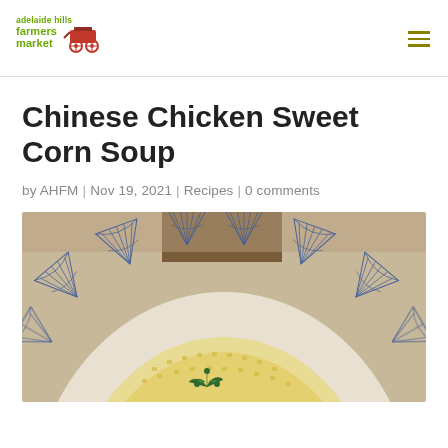adelaide hills farmers market [logo] [hamburger menu]
Chinese Chicken Sweet Corn Soup
by AHFM | Nov 19, 2021 | Recipes | 0 comments
[Figure (photo): A blue and white patterned bowl (fan/shell motif) containing a pale yellow soup (Chinese chicken sweet corn soup) garnished with green herbs in the center, photographed from above, cropped to show the upper portion of the bowl.]